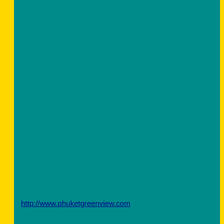| URL | Hotel Name |
| --- | --- |
| http://www.phuketgreenview.com | Phuket Laem Sai Resort |
| http://www.villalibergphuket.com | Sea Pines B Liberg |